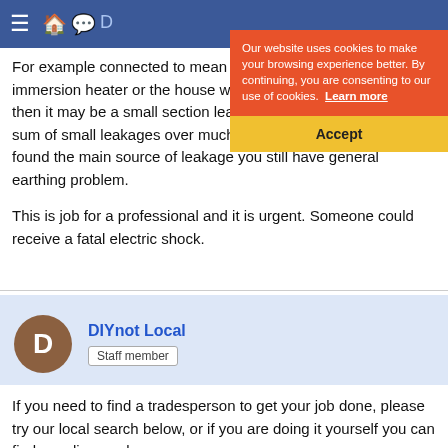DIYnot website navigation bar
[Figure (screenshot): Cookie consent banner overlay with orange background text area saying 'Our website uses cookies to make your browsing experience better. By continuing, you are consenting to our use of cookies. Learn more' and a yellow Accept button below.]
For example connected to mean very m You can go a immersion heater or the house wiring. If its the house wiring then it may be a small section leaking a lot of current or the sum of small leakages over much of the wiring. Even if you found the main source of leakage you still have general earthing problem.
This is job for a professional and it is urgent. Someone could receive a fatal electric shock.
DIYnot Local
Staff member
If you need to find a tradesperson to get your job done, please try our local search below, or if you are doing it yourself you can find suppliers and more...